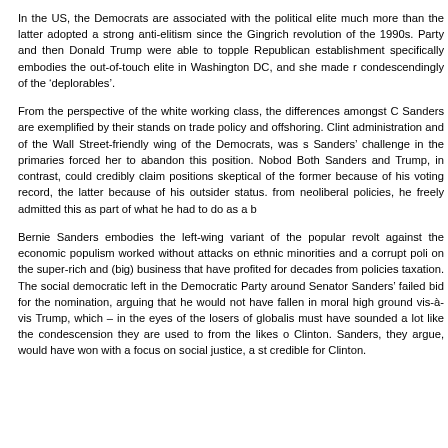In the US, the Democrats are associated with the political elite much more than the latter adopted a strong anti-elitism since the Gingrich revolution of the 1990s. Party and then Donald Trump were able to topple Republican establishment specifically embodies the out-of-touch elite in Washington DC, and she made r condescendingly of the 'deplorables'.
From the perspective of the white working class, the differences amongst C Sanders are exemplified by their stands on trade policy and offshoring. Clint administration and of the Wall Street-friendly wing of the Democrats, was s Sanders' challenge in the primaries forced her to abandon this position. Nobod Both Sanders and Trump, in contrast, could credibly claim positions skeptical of the former because of his voting record, the latter because of his outsider status. from neoliberal policies, he freely admitted this as part of what he had to do as a b
Bernie Sanders embodies the left-wing variant of the popular revolt against the economic populism worked without attacks on ethnic minorities and a corrupt poli on the super-rich and (big) business that have profited for decades from policies taxation. The social democratic left in the Democratic Party around Senator Sanders' failed bid for the nomination, arguing that he would not have fallen in moral high ground vis-à-vis Trump, which – in the eyes of the losers of globalis must have sounded a lot like the condescension they are used to from the likes o Clinton. Sanders, they argue, would have won with a focus on social justice, a st credible for Clinton.